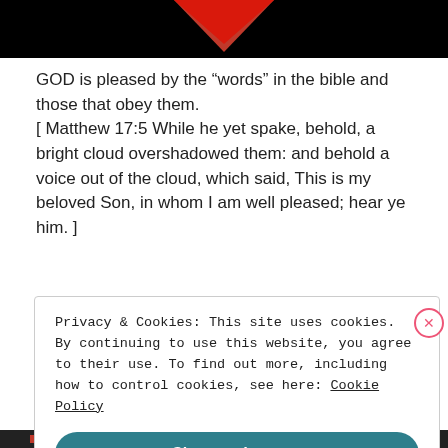[Figure (photo): Top banner image with black background and a red downward-pointing arrow/chevron shape visible at top center.]
GOD is pleased by the “words” in the bible and those that obey them.
[ Matthew 17:5 While he yet spake, behold, a bright cloud overshadowed them: and behold a voice out of the cloud, which said, This is my beloved Son, in whom I am well pleased; hear ye him. ]
Privacy & Cookies: This site uses cookies. By continuing to use this website, you agree to their use. To find out more, including how to control cookies, see here: Cookie Policy
Close and accept